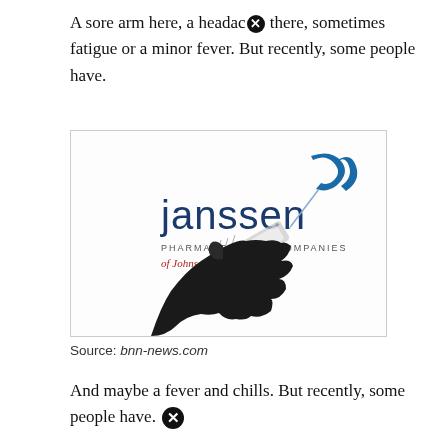A sore arm here, a headache there, sometimes fatigue or a minor fever. But recently, some people have.
[Figure (photo): Janssen Pharmaceutical Companies of Johnson & Johnson logo with a gloved hand holding a syringe/vaccine]
Source: bnn-news.com
And maybe a fever and chills. But recently, some people have.